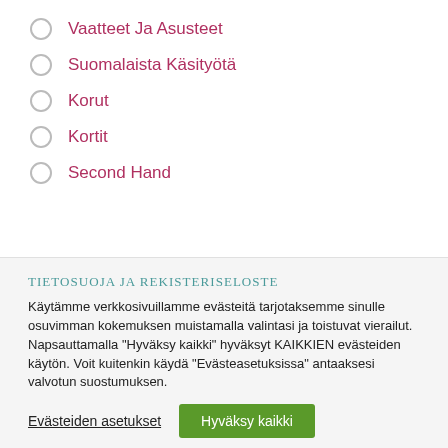Vaatteet Ja Asusteet
Suomalaista Käsityötä
Korut
Kortit
Second Hand
Tietosuoja ja rekisteriseloste
Käytämme verkkosivuillamme evästeitä tarjotaksemme sinulle osuvimman kokemuksen muistamalla valintasi ja toistuvat vierailut. Napsauttamalla "Hyväksy kaikki" hyväksyt KAIKKIEN evästeiden käytön. Voit kuitenkin käydä "Evästeasetuksissa" antaaksesi valvotun suostumuksen.
Evästeiden asetukset
Hyväksy kaikki